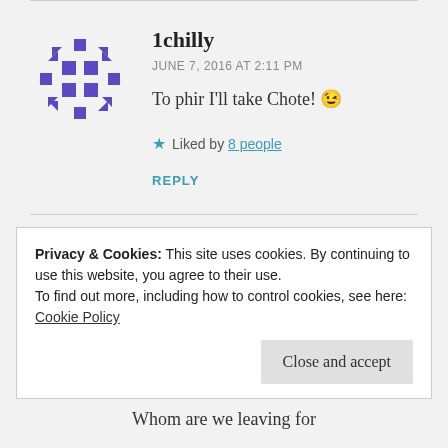[Figure (illustration): Purple snowflake/geometric avatar icon for user 1chilly]
1chilly
JUNE 7, 2016 AT 2:11 PM
To phir I'll take Chote! 😉
★ Liked by 8 people
REPLY
Privacy & Cookies: This site uses cookies. By continuing to use this website, you agree to their use. To find out more, including how to control cookies, see here: Cookie Policy
Close and accept
Whom are we leaving for